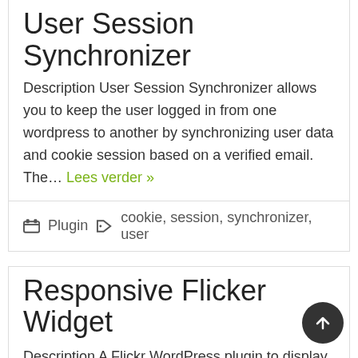User Session Synchronizer
Description User Session Synchronizer allows you to keep the user logged in from one wordpress to another by synchronizing user data and cookie session based on a verified email. The… Lees verder »
Plugin  cookie, session, synchronizer, user
Responsive Flicker Widget
Description A Flickr WordPress plugin to display user's and group's photos in sidebar widgets. Plugin Documentation Demo Features : Responsive Design. Easy to configure. Change "Photo Type" user or group… Lees verder »